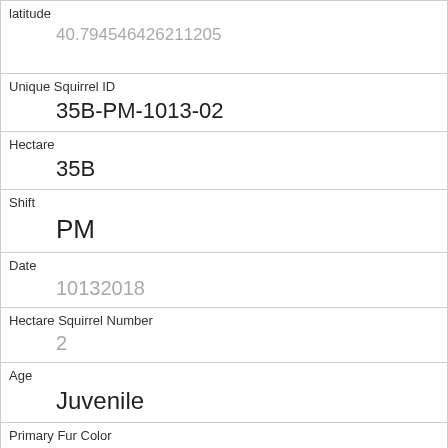| Field | Value |
| --- | --- |
| latitude | 40.794546426211205 |
| Unique Squirrel ID | 35B-PM-1013-02 |
| Hectare | 35B |
| Shift | PM |
| Date | 10132018 |
| Hectare Squirrel Number | 2 |
| Age | Juvenile |
| Primary Fur Color |  |
| Highlight Fur Color |  |
| Combination of Primary and Highlight Color | + |
| Color notes |  |